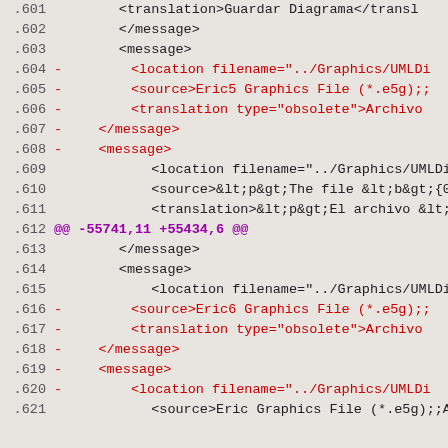Code diff view showing lines 601-621 of a software localization file with XML message translations
.601    <translation>Guardar Diagrama</transl
.602        </message>
.603        <message>
.604 -          <location filename="../Graphics/UMLDi
.605 -          <source>Eric5 Graphics File (*.e5g);;
.606 -          <translation type="obsolete">Archivo
.607 -      </message>
.608 -      <message>
.609            <location filename="../Graphics/UMLDi
.610            <source>&lt;p&gt;The file &lt;b&gt;{0
.611            <translation>&lt;p&gt;El archivo &lt;
.612 @@ -55741,11 +55434,6 @@
.613        </message>
.614        <message>
.615            <location filename="../Graphics/UMLDi
.616 -          <source>Eric6 Graphics File (*.e5g);;
.617 -          <translation type="obsolete">Archivo
.618 -      </message>
.619 -      <message>
.620 -          <location filename="../Graphics/UMLDi
.621            <source>Eric Graphics File (*.e5g);;A